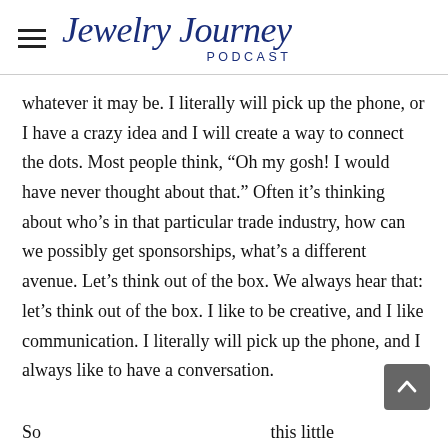Jewelry Journey PODCAST
whatever it may be. I literally will pick up the phone, or I have a crazy idea and I will create a way to connect the dots. Most people think, “Oh my gosh! I would have never thought about that.” Often it’s thinking about who’s in that particular trade industry, how can we possibly get sponsorships, what’s a different avenue. Let’s think out of the box. We always hear that: let’s think out of the box. I like to be creative, and I like communication. I literally will pick up the phone, and I always like to have a conversation.